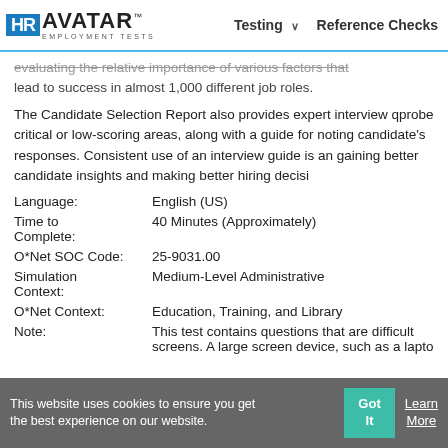HR AVATAR EMPLOYMENT TESTS | Testing | Reference Checks
evaluating the relative importance of various factors that lead to success in almost 1,000 different job roles.
The Candidate Selection Report also provides expert interview questions to probe critical or low-scoring areas, along with a guide for noting the candidate's responses. Consistent use of an interview guide is an aid to gaining better candidate insights and making better hiring decisions.
Language: English (US)
Time to Complete: 40 Minutes (Approximately)
O*Net SOC Code: 25-9031.00
Simulation Context: Medium-Level Administrative
O*Net Context: Education, Training, and Library
Note: This test contains questions that are difficult on small screens. A large screen device, such as a laptop
This website uses cookies to ensure you get the best experience on our website.